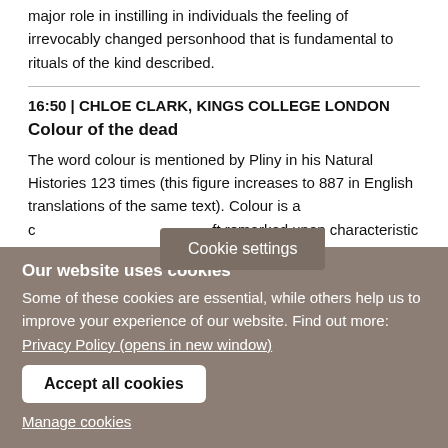...practices to attend are important because they would have played a major role in instilling in individuals the feeling of irrevocably changed personhood that is fundamental to rituals of the kind described.
16:50 | CHLOE CLARK, KINGS COLLEGE LONDON
Colour of the dead
The word colour is mentioned by Pliny in his Natural Histories 123 times (this figure increases to 887 in English translations of the same text). Colour is a characteristic used by Pliny to describe the world around him. To
Cookie settings
Our website uses cookies
Some of these cookies are essential, while others help us to improve your experience of our website. Find out more:
Privacy Policy (opens in new window)
Accept all cookies
Manage cookies